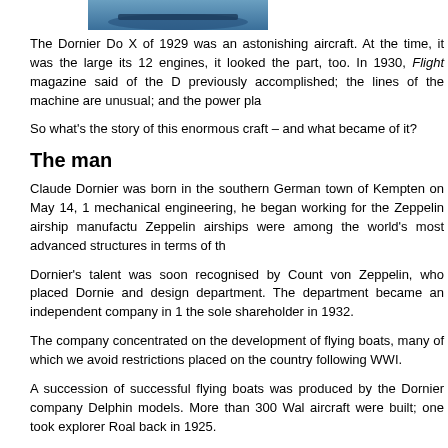[Figure (photo): Partial image of an aircraft at the top of the page]
The Dornier Do X of 1929 was an astonishing aircraft. At the time, it was the large... its 12 engines, it looked the part, too. In 1930, Flight magazine said of the D... previously accomplished; the lines of the machine are unusual; and the power pla...
So what's the story of this enormous craft – and what became of it?
The man
Claude Dornier was born in the southern German town of Kempten on May 14, 1... mechanical engineering, he began working for the Zeppelin airship manufactu... Zeppelin airships were among the world's most advanced structures in terms of th...
Dornier's talent was soon recognised by Count von Zeppelin, who placed Dornie... and design department. The department became an independent company in 1... the sole shareholder in 1932.
The company concentrated on the development of flying boats, many of which we... avoid restrictions placed on the country following WWI.
A succession of successful flying boats was produced by the Dornier company... Delphin models. More than 300 Wal aircraft were built; one took explorer Roal... back in 1925.
And it was in 1925 that Dornier received funds from the German government to de...
The Do X
The Do X was built in Altenrhein, on the Swiss side of Lake Constance, with co... 1927. It took 570 days to build the huge craft, with the launching and first trial fligh...